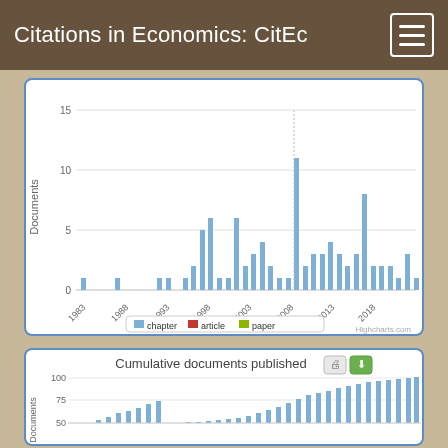Citations in Economics: CitEc
[Figure (bar-chart): Documents per year]
[Figure (bar-chart): Cumulative documents published]